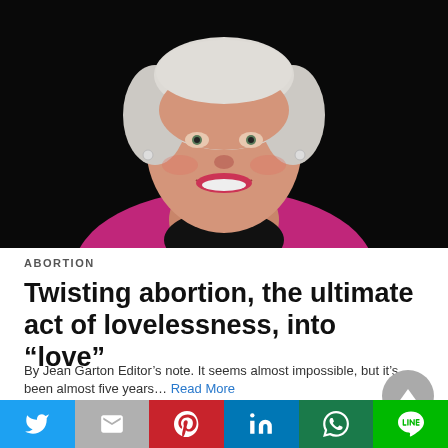[Figure (photo): Portrait of an elderly smiling woman with white hair, wearing a black top with pearl necklace and magenta/pink jacket, against a dark background.]
ABORTION
Twisting abortion, the ultimate act of lovelessness, into “love”
By Jean Garton Editor’s note. It seems almost impossible, but it’s been almost five years… Read More
19 hours ago